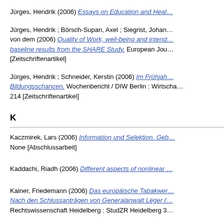Jürges, Hendrik (2006) Essays on Education and Heal…
Jürges, Hendrik ; Börsch-Supan, Axel ; Siegrist, Johan… von dem (2006) Quality of Work, well-being and intend… baseline results from the SHARE Study. European Jou… [Zeitschriftenartikel]
Jürges, Hendrik ; Schneider, Kerstin (2006) Im Frühjah… Bildungsschancen. Wochenbericht / DIW Berlin : Wirtscha… 214 [Zeitschriftenartikel]
K
Kaczmirek, Lars (2006) Information und Selektion. Geb… None [Abschlussarbeit]
Kaddachi, Riadh (2006) Different aspects of nonlinear …
Kainer, Friedemann (2006) Das europäische Tabakwer… Nach den Schlussanträgen von Generalanwalt Léger (… Rechtswissenschaft Heidelberg : StudZR Heidelberg 3…